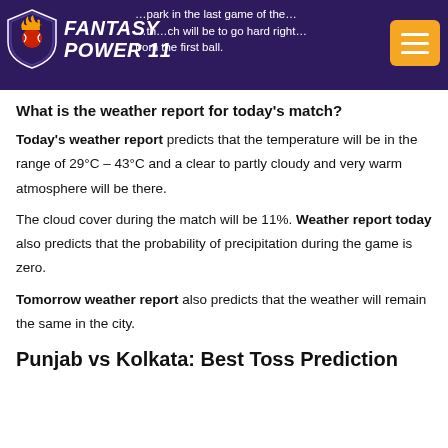Fantasy Power 11 — …park in the last game of the…th…ch will be to go hard right from the first ball.
What is the weather report for today's match?
Today's weather report predicts that the temperature will be in the range of 29°C – 43°C and a clear to partly cloudy and very warm atmosphere will be there.
The cloud cover during the match will be 11%. Weather report today also predicts that the probability of precipitation during the game is zero.
Tomorrow weather report also predicts that the weather will remain the same in the city.
Punjab vs Kolkata: Best Toss Prediction